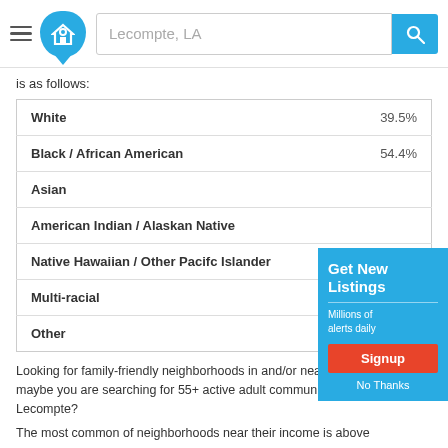Lecompte, LA
is as follows:
|  |  |
| --- | --- |
| White | 39.5% |
| Black / African American | 54.4% |
| Asian |  |
| American Indian / Alaskan Native |  |
| Native Hawaiian / Other Pacifc Islander |  |
| Multi-racial |  |
| Other |  |
Looking for family-friendly neighborhoods in and/or near Lecompte? Or maybe you are searching for 55+ active adult communities in and/or near Lecompte?
The most common of neighborhoods near their income is above